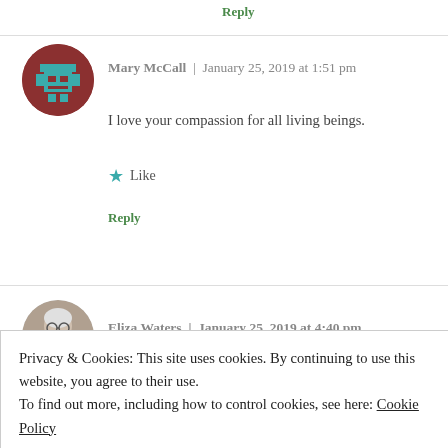Reply
Mary McCall | January 25, 2019 at 1:51 pm
I love your compassion for all living beings.
★ Like
Reply
[Figure (illustration): Circular avatar with pixel-art robot icon on brown background]
Eliza Waters | January 25, 2019 at 4:40 pm
[Figure (photo): Circular avatar photo of an elderly woman with glasses and white/gray hair]
Privacy & Cookies: This site uses cookies. By continuing to use this website, you agree to their use.
To find out more, including how to control cookies, see here: Cookie Policy
Close and accept
populations. If you have feeders, you might disinfect